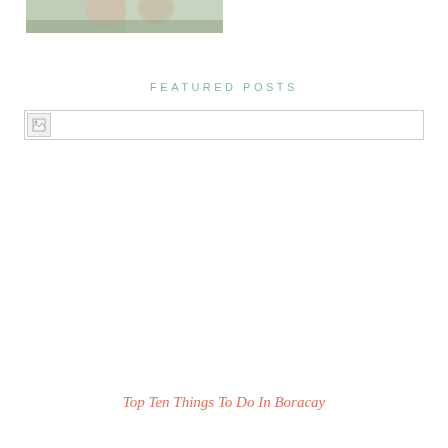[Figure (photo): Partial photo of people outdoors, appears to be a family/couple photo cropped at top of page]
FEATURED POSTS
[Figure (photo): Broken/unloaded image placeholder in featured posts section]
Top Ten Things To Do In Boracay